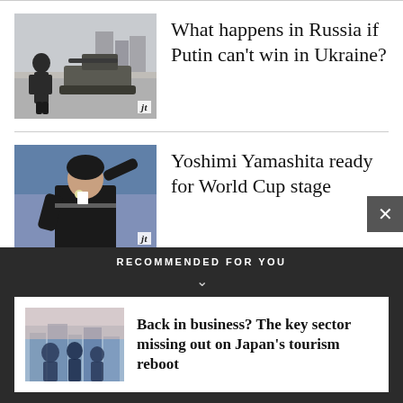[Figure (photo): Military tank and soldier on a street, Russia/Ukraine war imagery, with 'jt' badge]
What happens in Russia if Putin can’t win in Ukraine?
[Figure (photo): Female soccer referee Yoshimi Yamashita pointing, wearing black uniform, with 'jt' badge]
Yoshimi Yamashita ready for World Cup stage
RECOMMENDED FOR YOU
[Figure (photo): Business people silhouettes in city, tourism/business theme, blueish tones]
Back in business? The key sector missing out on Japan's tourism reboot